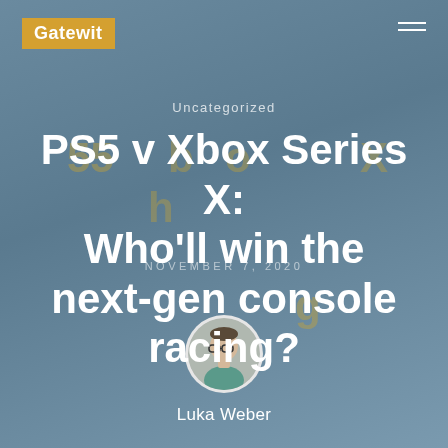Gatewit
Uncategorized
PS5 v Xbox Series X: Who'll win the next-gen console racing?
NOVEMBER 7, 2020
[Figure (photo): Circular avatar photo of Luka Weber, a young man with glasses]
Luka Weber